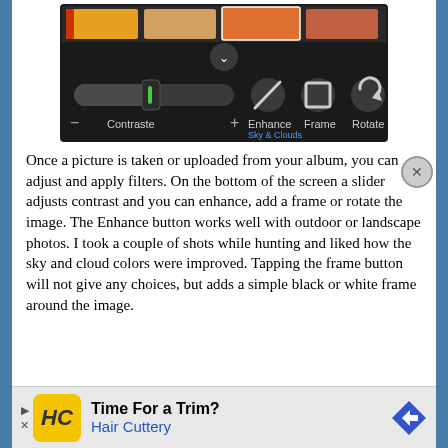[Figure (screenshot): Screenshot of a photo editing app interface showing a dark toolbar with contrast slider, Enhance, Frame, and Rotate buttons, with 'Sky & Clouds' filter selected and thumbnail previews at top.]
Once a picture is taken or uploaded from your album, you can adjust and apply filters. On the bottom of the screen a slider adjusts contrast and you can enhance, add a frame or rotate the image. The Enhance button works well with outdoor or landscape photos. I took a couple of shots while hunting and liked how the sky and cloud colors were improved. Tapping the frame button will not give any choices, but adds a simple black or white frame around the image.
[Figure (screenshot): Advertisement banner for Hair Cuttery: 'Time For a Trim?' with Hair Cuttery logo (HC in yellow circle) and blue diamond direction arrow icon.]